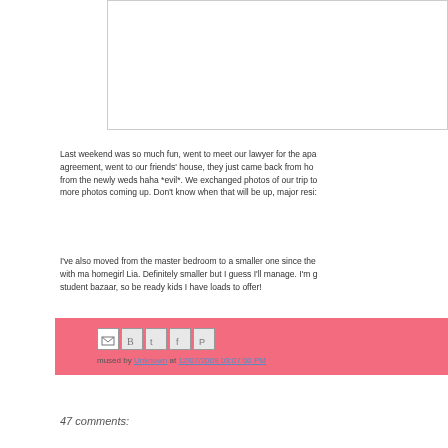[Figure (other): Image placeholder box with border]
Last weekend was so much fun, went to meet our lawyer for the apartment agreement, went to our friends' house, they just came back from home from the newly weds haha *evil*. We exchanged photos of our trip to more photos coming up. Don't know when that will be up, major resi:
I've also moved from the master bedroom to a smaller one since the with ma homegirl Lia. Definitely smaller but I guess I'll manage. I'm g student bazaar, so be ready kids I have loads to offer!
mused by Unknown at 12/07/2009 03:07:00 PM
47 comments: